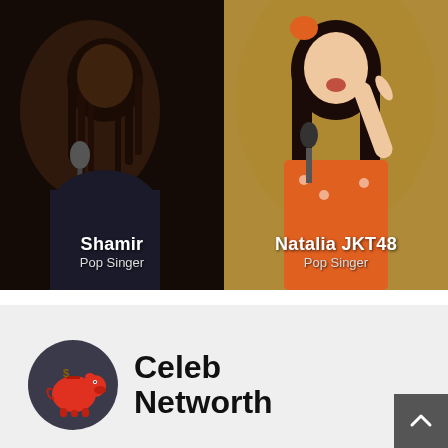[Figure (photo): Two celebrity photos side by side. Left: Shamir, a dark-skinned male pop singer with dreadlocks singing into a microphone, dark moody background. Right: Natalia JKT48, an Asian female pop singer with long dark hair and orange outfit, holding a microphone and pointing upward.]
Shamir
Pop Singer
Natalia JKT48
Pop Singer
[Figure (logo): Celeb Networth logo: dark circular badge with a red piggy bank icon and a gold coin with dollar sign]
Celeb Networth